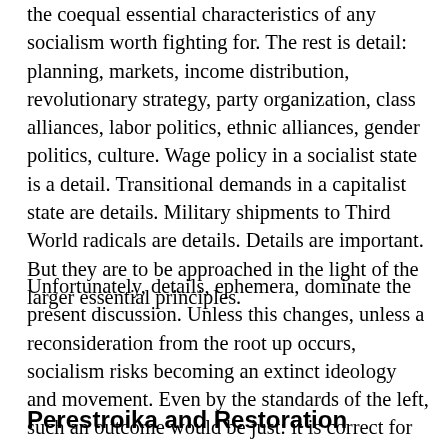the coequal essential characteristics of any socialism worth fighting for. The rest is detail: planning, markets, income distribution, revolutionary strategy, party organization, class alliances, labor politics, ethnic alliances, gender politics, culture. Wage policy in a socialist state is a detail. Transitional demands in a capitalist state are details. Military shipments to Third World radicals are details. Details are important. But they are to be approached in the light of the larger essential principles.
Unfortunately, details, ephemera, dominate the present discussion. Unless this changes, unless a reconsideration from the root up occurs, socialism risks becoming an extinct ideology and movement. Even by the standards of the left, such an outcome would be just: it is correct for ossified, historically obsolete phenomena to perish.
Perestroika and Restoration